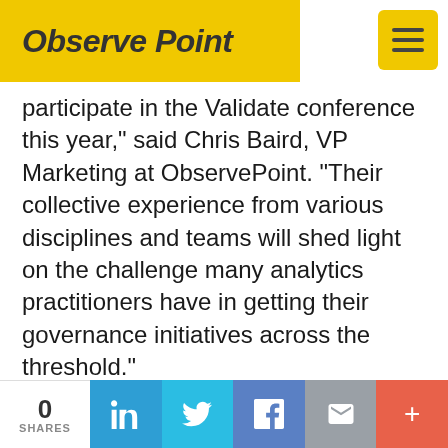ObservePoint
participate in the Validate conference this year,” said Chris Baird, VP Marketing at ObservePoint. “Their collective experience from various disciplines and teams will shed light on the challenge many analytics practitioners have in getting their governance initiatives across the threshold.”
Validate 2019 is ObservePoint’s user event, which they host annually in Park City, Utah—a city tucked into the eastern side of the Wasatch Mountains and famous for its
0 SHARES | LinkedIn | Twitter | Facebook | Email | +